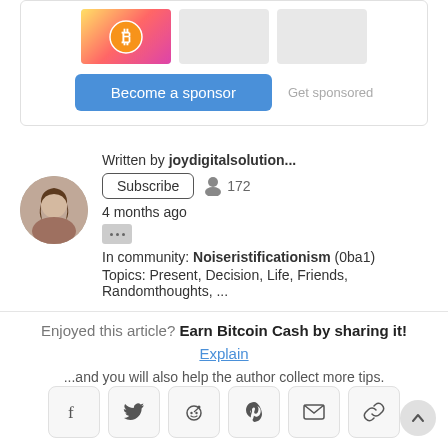[Figure (screenshot): Sponsor section with thumbnail image, Become a sponsor button, and Get sponsored link]
Written by joydigitalsolution...
Subscribe   172
4 months ago
In community: Noiseristificationism (0ba1)
Topics: Present, Decision, Life, Friends, Randomthoughts, ...
Enjoyed this article?  Earn Bitcoin Cash by sharing it!  Explain
...and you will also help the author collect more tips.